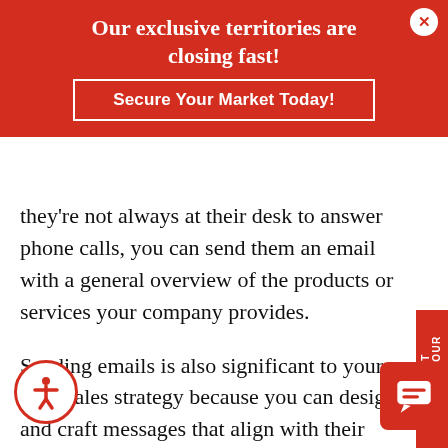Our exclusive territories are closing fast!
Secure Your Market Today!
they're not always at their desk to answer phone calls, you can send them an email with a general overview of the products or services your company provides.
Sending emails is also significant to your B2B sales strategy because you can design and craft messages that align with their industry's needs. In addition to typing copy in an email, you can also attach relevant marketing collateral like videos, brochures, and infographics that provide more visual appeal for the prospects. By sending sales enablement materials, you increas